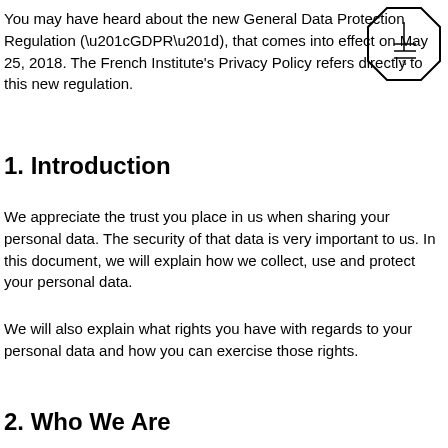You may have heard about the new General Data Protection Regulation (“GDPR”), that comes into effect on May 25, 2018. The French Institute's Privacy Policy refers directly to this new regulation.
[Figure (illustration): Octagon shape with internal lines forming a cursor/arrow icon, positioned top-right]
1. Introduction
We appreciate the trust you place in us when sharing your personal data. The security of that data is very important to us. In this document, we will explain how we collect, use and protect your personal data.
We will also explain what rights you have with regards to your personal data and how you can exercise those rights.
2. Who We Are